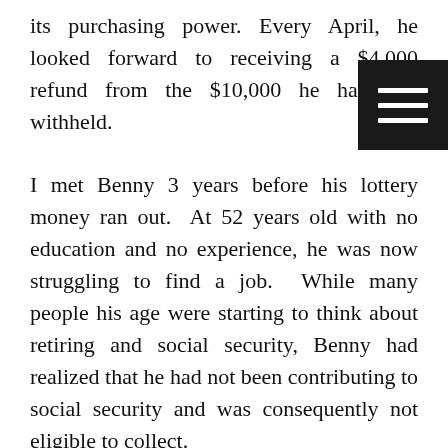its purchasing power. Every April, he looked forward to receiving a $4,000 refund from the $10,000 he had had withheld.

I met Benny 3 years before his lottery money ran out.  At 52 years old with no education and no experience, he was now struggling to find a job.  While many people his age were starting to think about retiring and social security, Benny had realized that he had not been contributing to social security and was consequently not eligible to collect. He planned to sell his modest trailer home and hope his extended family would